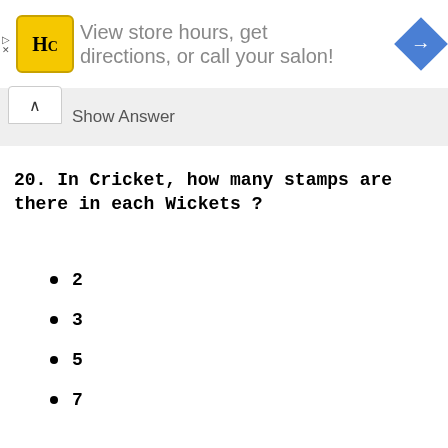[Figure (logo): Advertisement banner with HC logo (yellow square with HC text), text 'View store hours, get directions, or call your salon!' and a blue navigation diamond icon]
Show Answer
20. In Cricket, how many stamps are there in each Wickets ?
2
3
5
7
Show Answer